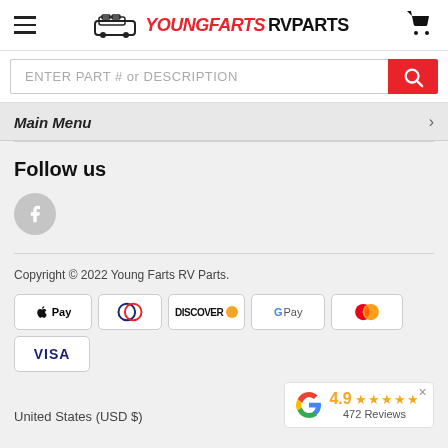YOUNGFARTS RVPARTS — navigation header with hamburger menu, logo, and cart icon
ENTER PART # or DESCRIPTION
Main Menu
Follow us
[Figure (logo): Facebook circular icon button]
Copyright © 2022 Young Farts RV Parts.
[Figure (infographic): Payment method icons: Apple Pay, Diners Club, Discover, Google Pay, Mastercard, Visa]
United States (USD $)
[Figure (other): Google review badge showing 4.9 stars and 472 Reviews]